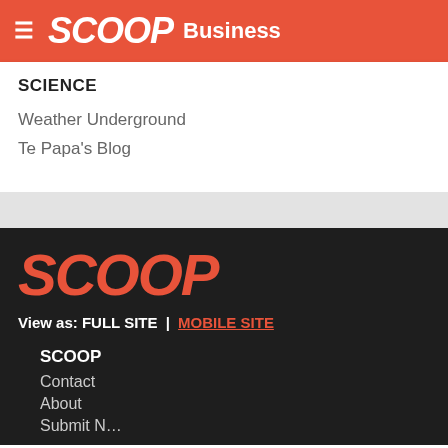SCOOP Business
SCIENCE
Weather Underground
Te Papa's Blog
[Figure (logo): SCOOP logo in orange/red on dark background]
View as: FULL SITE | MOBILE SITE
SCOOP
Contact
About
Submit N…